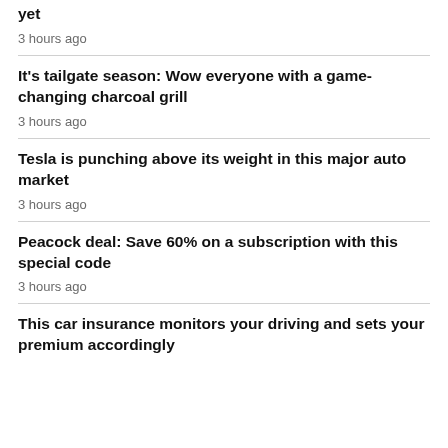yet
3 hours ago
It's tailgate season: Wow everyone with a game-changing charcoal grill
3 hours ago
Tesla is punching above its weight in this major auto market
3 hours ago
Peacock deal: Save 60% on a subscription with this special code
3 hours ago
This car insurance monitors your driving and sets your premium accordingly